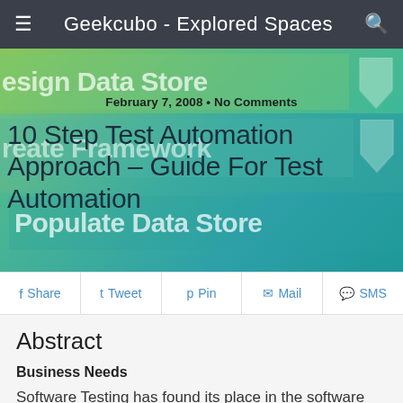Geekcubo - Explored Spaces
[Figure (screenshot): Hero banner showing a flowchart with green gradient steps labeled 'Design Data Store', 'Create Framework', 'Populate Data Store' with teal arrows. Overlaid with article date and title.]
February 7, 2008 • No Comments
10 Step Test Automation Approach – Guide For Test Automation
Share  Tweet  Pin  Mail  SMS
Abstract
Business Needs
Software Testing has found its place in the software industry, with more and more organizations understanding the crucial role that it plays in quality